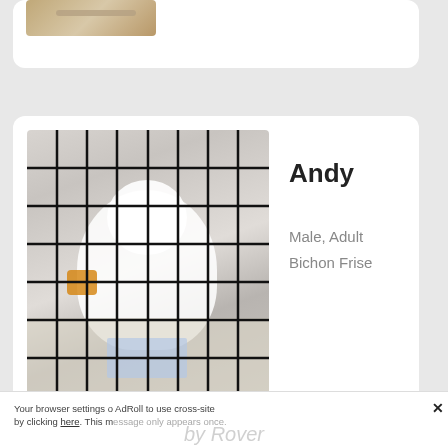[Figure (photo): Partial view of a dog photo at top of page, cropped]
[Figure (photo): White Bichon Frise dog named Andy inside a wire cage/kennel]
Andy
Male, Adult
Bichon Frise
[Figure (photo): Partial view of another dog card, dark photo]
This website stores data such as cookies to enable necessary site functions, including analytics, targeting and personalization. By remaining on this website you indicate your consent.
Cookie Policy
Your browser settings o AdRoll to use cross-site by clicking here. This message only appears once.